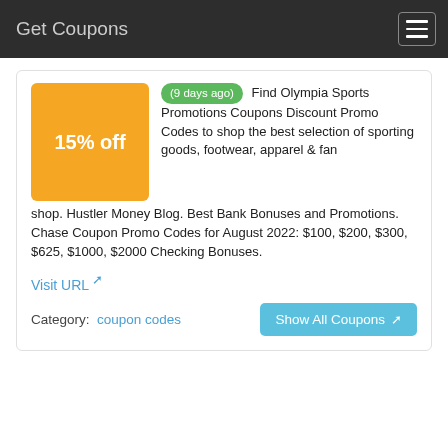Get Coupons
(9 days ago) Find Olympia Sports Promotions Coupons Discount Promo Codes to shop the best selection of sporting goods, footwear, apparel & fan shop. Hustler Money Blog. Best Bank Bonuses and Promotions. Chase Coupon Promo Codes for August 2022: $100, $200, $300, $625, $1000, $2000 Checking Bonuses.
Visit URL
Category:  coupon codes
Show All Coupons